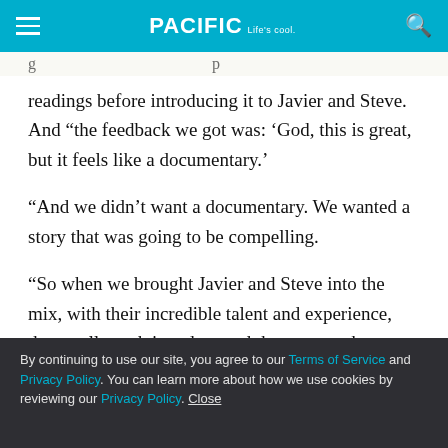PACIFIC Life's cool
readings before introducing it to Javier and Steve. And “the feedback we got was: ‘God, this is great, but it feels like a documentary.’
“And we didn’t want a documentary. We wanted a story that was going to be compelling.
“So when we brought Javier and Steve into the mix, with their incredible talent and experience, they really took it and moved the story to the next level.”
By continuing to use our site, you agree to our Terms of Service and Privacy Policy. You can learn more about how we use cookies by reviewing our Privacy Policy. Close